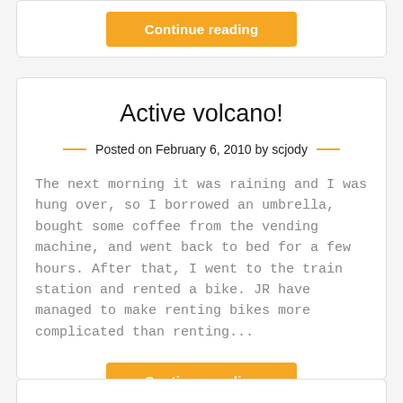Continue reading
Active volcano!
Posted on February 6, 2010 by scjody
The next morning it was raining and I was hung over, so I borrowed an umbrella, bought some coffee from the vending machine, and went back to bed for a few hours. After that, I went to the train station and rented a bike. JR have managed to make renting bikes more complicated than renting...
Continue reading